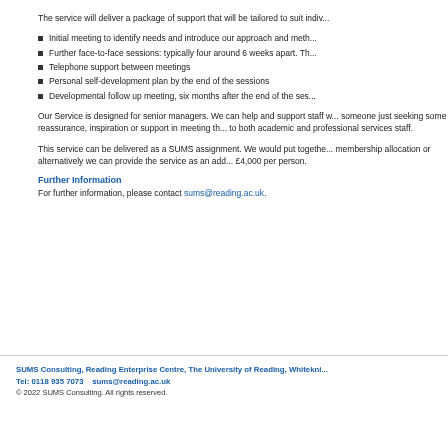The service will deliver a package of support that will be tailored to suit indivi...
Initial meeting to identify needs and introduce our approach and meth...
Further face-to-face sessions: typically four around 6 weeks apart. Th...
Telephone support between meetings
Personal self-development plan by the end of the sessions
Developmental follow up meeting, six months after the end of the ses...
Our Service is designed for senior managers. We can help and support staff w... someone just seeking some reassurance, inspiration or support in meeting th... to both academic and professional services staff.
This service can be delivered as a SUMS assignment. We would put togethe... membership allocation or alternatively we can provide the service as an add... £4,000 per person.
Further Information
For further information, please contact sums@reading.ac.uk.
SUMS Consulting, Reading Enterprise Centre, The University of Reading, Whitekni... Tel: 0118 935 7073    sums@reading.ac.uk © 2022 SUMS Consulting. All rights reserved.